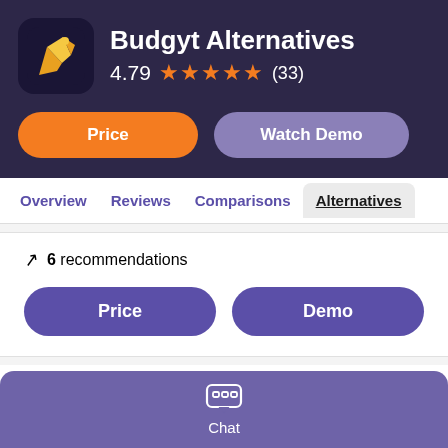Budgyt Alternatives
4.79 ★★★★★ (33)
Price
Watch Demo
Overview
Reviews
Comparisons
Alternatives
6 recommendations
Price
Demo
Moon Invoice
Chat